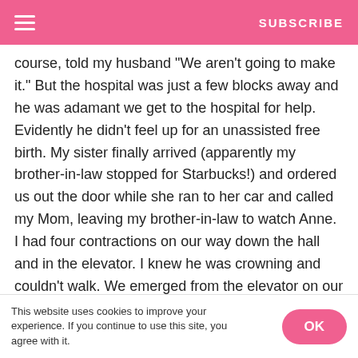SUBSCRIBE
course, told my husband "We aren't going to make it." But the hospital was just a few blocks away and he was adamant we get to the hospital for help. Evidently he didn't feel up for an unassisted free birth. My sister finally arrived (apparently my brother-in-law stopped for Starbucks!) and ordered us out the door while she ran to her car and called my Mom, leaving my brother-in-law to watch Anne. I had four contractions on our way down the hall and in the elevator. I knew he was crowning and couldn't walk. We emerged from the elevator on our parking level and I had a massive contraction and the baby almost fell out. Brian half-carried, half-dragged me, now desperate for help. He leaned me up against a pole and ran to the truck to pull it over. I was actively working to NOT push the baby out but it was coming! The morning rush was on and
This website uses cookies to improve your experience. If you continue to use this site, you agree with it.